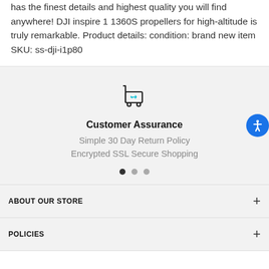has the finest details and highest quality you will find anywhere! DJI inspire 1 1360S propellers for high-altitude is truly remarkable. Product details: condition: brand new item SKU: ss-dji-i1p80
[Figure (illustration): Shopping cart icon with a return arrow, teal/cyan colored arrow]
Customer Assurance
Simple 30 Day Return Policy
Encrypted SSL Secure Shopping
ABOUT OUR STORE
POLICIES